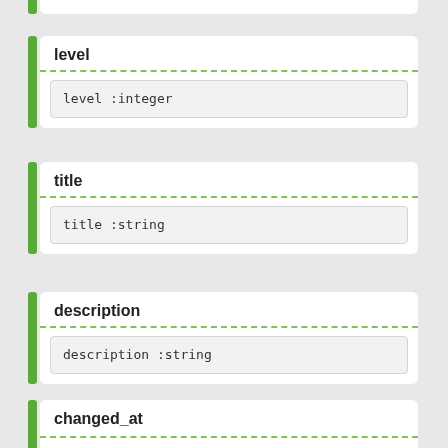level
level :integer
title
title :string
description
description :string
changed_at